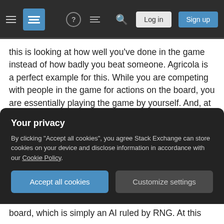Stack Exchange navigation bar with hamburger menu, logo, help, comments, search, Log in, Sign up buttons
this is looking at how well you've done in the game instead of how badly you beat someone. Agricola is a perfect example for this. While you are competing with people in the game for actions on the board, you are essentially playing the game by yourself. And, at the end of the game, instead of counting your points against everyone else, you count your points and see if you did well. At that point, you can consider that you simply played a game and got a score...much like many old arcade games that never had an ending.
Your privacy
By clicking "Accept all cookies", you agree Stack Exchange can store cookies on your device and disclose information in accordance with our Cookie Policy.
Accept all cookies  Customize settings
board, which is simply an AI ruled by RNG. At this